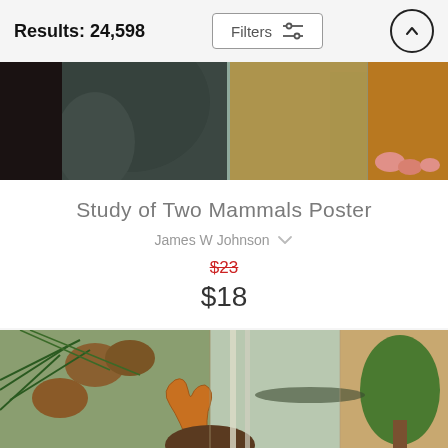Results: 24,598
[Figure (screenshot): Partial product image showing two animals (dark animal on left, golden/yellow animal on right with pink hands) against a muted teal-grey background]
Study of Two Mammals Poster
James W Johnson ♡
$23 (strikethrough) $18
[Figure (illustration): Nature-themed collage illustration with pine cones, pine needles, antlers, trees, and woodland scenery on a vintage textured background]